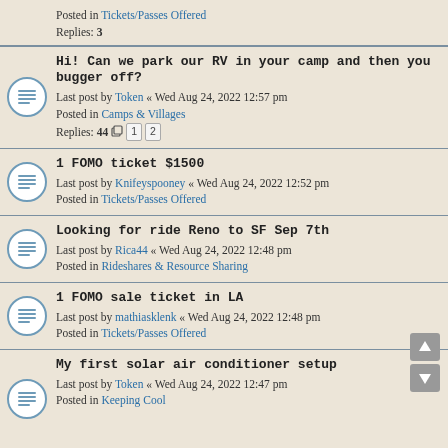Posted in Tickets/Passes Offered
Replies: 3
Hi! Can we park our RV in your camp and then you bugger off?
Last post by Token « Wed Aug 24, 2022 12:57 pm
Posted in Camps & Villages
Replies: 44 1 2
1 FOMO ticket $1500
Last post by Knifeyspooney « Wed Aug 24, 2022 12:52 pm
Posted in Tickets/Passes Offered
Looking for ride Reno to SF Sep 7th
Last post by Rica44 « Wed Aug 24, 2022 12:48 pm
Posted in Rideshares & Resource Sharing
1 FOMO sale ticket in LA
Last post by mathiasklenk « Wed Aug 24, 2022 12:48 pm
Posted in Tickets/Passes Offered
My first solar air conditioner setup
Last post by Token « Wed Aug 24, 2022 12:47 pm
Posted in Keeping Cool